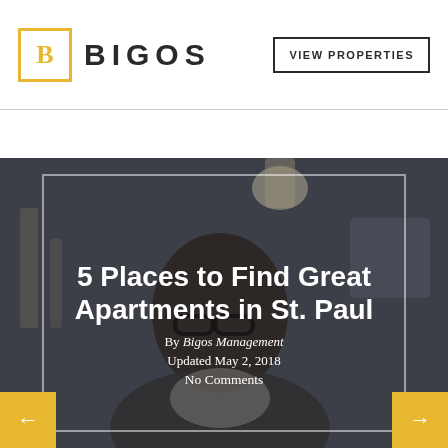BIGOS
VIEW PROPERTIES
[Figure (photo): Woman with glasses looking at a laptop in a dark office setting, used as hero background image for a blog article card.]
5 Places to Find Great Apartments in St. Paul
By Bigos Management
Updated May 2, 2018
No Comments